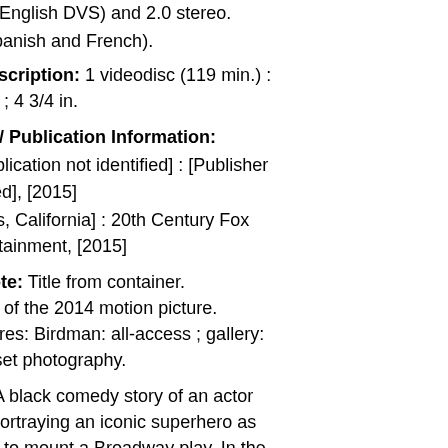sh and English DVS) and 2.0 stereo.
und (Spanish and French).
ical Description: 1 videodisc (119 min.) : d, color ; 4 3/4 in.
uction / Publication Information:
e of publication not identified] : [Publisher identified], [2015]
Angeles, California] : 20th Century Fox e Entertainment, [2015]
eral Note: Title from container. release of the 2014 motion picture. al features: Birdman: all-access ; gallery: o's on-set photography.
mary: A black comedy story of an actor us for portraying an iconic superhero as ruggles to mount a Broadway play. In the leading up to opening night, he battles his and attempts to recover his family, his r, and himself.
cipant or performer note: Michael on, Zach Galifianakis, Edward Norton,